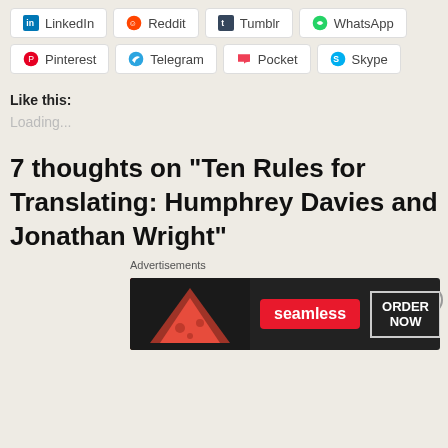[Figure (screenshot): Social share buttons row 1: LinkedIn, Reddit, Tumblr, WhatsApp]
[Figure (screenshot): Social share buttons row 2: Pinterest, Telegram, Pocket, Skype]
Like this:
Loading...
7 thoughts on “Ten Rules for Translating: Humphrey Davies and Jonathan Wright”
Advertisements
[Figure (other): Seamless food delivery advertisement banner with pizza image, seamless logo in red, and ORDER NOW button]